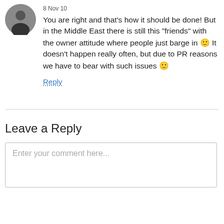[Figure (photo): Circular avatar photo of a person dressed in black]
8 Nov 10
You are right and that’s how it should be done! But in the Middle East there is still this “friends” with the owner attitude where people just barge in 🙂 It doesn’t happen really often, but due to PR reasons we have to bear with such issues 🙂
Reply
Leave a Reply
Enter your comment here...